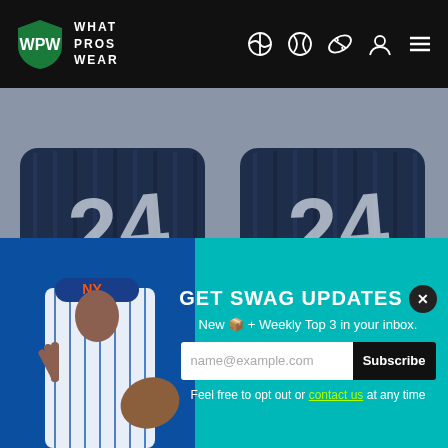WPW WHAT PROS WEAR
[Figure (photo): Close-up photo of a pair of navy blue Rawlings numbered wristbands with number 24, lying on a gray surface]
Above is a pair of Griffey’s Rawlings numbered wristbands from ’94, and from that watermarked photo above, you can see he wore one for that De…
[Figure (photo): NY Mets baseball player in blue and white pinstripe uniform making a peace sign, wearing blue cap with NY logo]
GET SWAG UPDATES
New 📦 + Weekly Top 3 in your inbox.
name@example.com
Subscribe
Feel free to opt out or contact us at any time